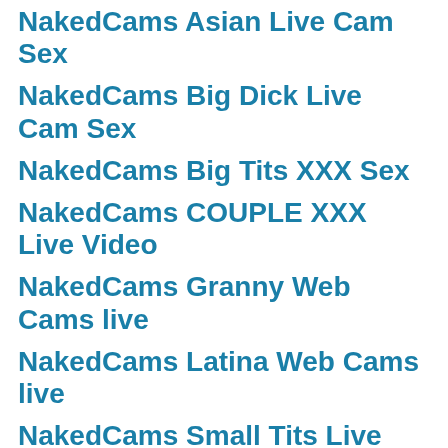NakedCams Asian Live Cam Sex
NakedCams Big Dick Live Cam Sex
NakedCams Big Tits XXX Sex
NakedCams COUPLE XXX Live Video
NakedCams Granny Web Cams live
NakedCams Latina Web Cams live
NakedCams Small Tits Live Cam Sex
NakedCams Squirt Web Cams live
NakedCams Squirt Web Cams...